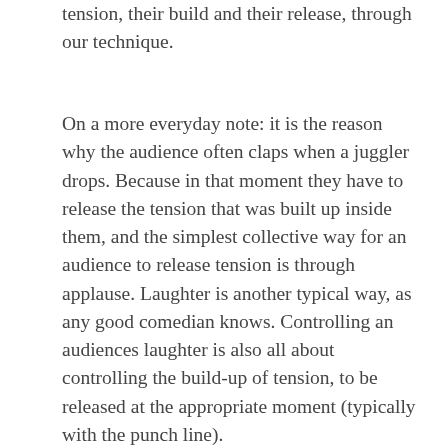tension, their build and their release, through our technique.
On a more everyday note: it is the reason why the audience often claps when a juggler drops. Because in that moment they have to release the tension that was built up inside them, and the simplest collective way for an audience to release tension is through applause. Laughter is another typical way, as any good comedian knows. Controlling an audiences laughter is also all about controlling the build-up of tension, to be released at the appropriate moment (typically with the punch line).